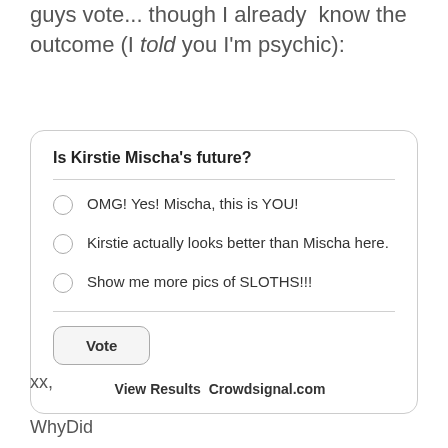guys vote... though I already know the outcome (I told you I'm psychic):
[Figure (other): Online poll widget titled 'Is Kirstie Mischa's future?' with three radio button options: 'OMG! Yes! Mischa, this is YOU!', 'Kirstie actually looks better than Mischa here.', 'Show me more pics of SLOTHS!!!', a Vote button, and footer links 'View Results  Crowdsignal.com']
xx,
WhyDid